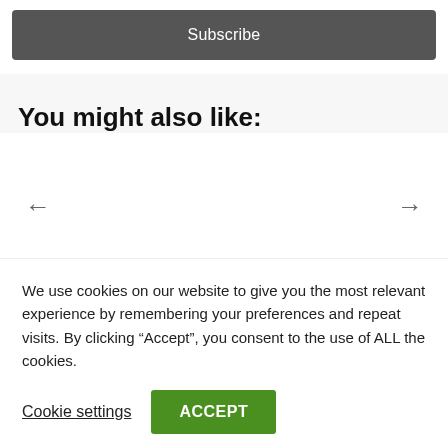Subscribe
You might also like:
[Figure (other): Carousel navigation with left arrow, center content area, and right arrow]
We use cookies on our website to give you the most relevant experience by remembering your preferences and repeat visits. By clicking “Accept”, you consent to the use of ALL the cookies.
Cookie settings
ACCEPT